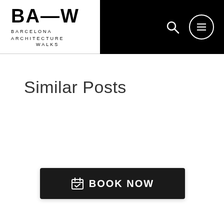BA—W BARCELONA ARCHITECTURE WALKS
Similar Posts
BOOK NOW